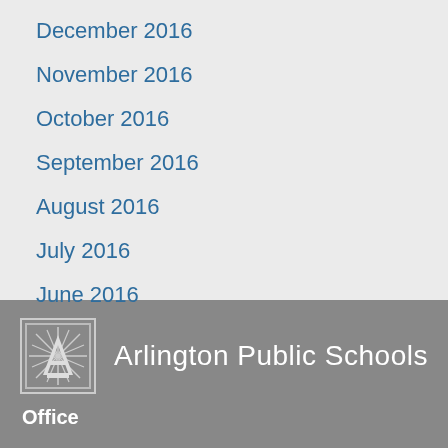December 2016
November 2016
October 2016
September 2016
August 2016
July 2016
June 2016
[Figure (logo): Arlington Public Schools logo — letter A with sunburst rays in a square border]
Arlington Public Schools
Office